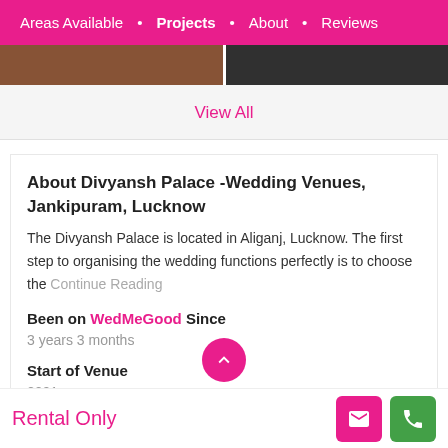Areas Available • Projects • About • Reviews
View All
About Divyansh Palace -Wedding Venues,  Jankipuram, Lucknow
The Divyansh Palace is located in Aliganj, Lucknow. The first step to organising the wedding functions perfectly is to choose the Continue Reading
Been on WedMeGood Since
3 years 3 months
Start of Venue
2001
Rental Only